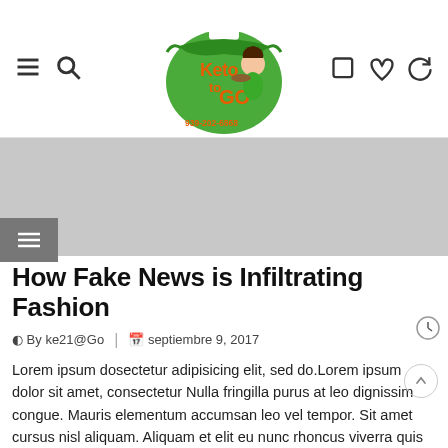Keto to GO — 939-202-6868
[Figure (illustration): Gray banner placeholder image area]
How Fake News is Infiltrating Fashion
By ke21@Go  |  septiembre 9, 2017
Lorem ipsum dosectetur adipisicing elit, sed do.Lorem ipsum dolor sit amet, consectetur Nulla fringilla purus at leo dignissim congue. Mauris elementum accumsan leo vel tempor. Sit amet cursus nisl aliquam. Aliquam et elit eu nunc rhoncus viverra quis at felis. Be who you are and say what you feel, because those who mind don't matter. [...]
CONTINUE READING →